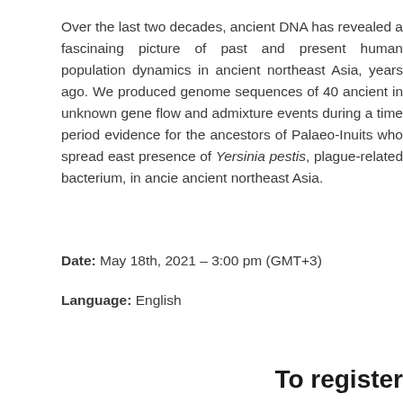Over the last two decades, ancient DNA has revealed a fascinating picture of past and present human population dynamics in ancient northeast Asia, dating back thousands of years ago. We produced genome sequences of 40 ancient individuals and discovered unknown gene flow and admixture events during a time period. We also found genetic evidence for the ancestors of Palaeo-Inuits who spread eastwards, and detected the presence of Yersinia pestis, plague-related bacterium, in ancient individuals across ancient northeast Asia.
Date: May 18th, 2021 – 3:00 pm (GMT+3)
Language: English
To register